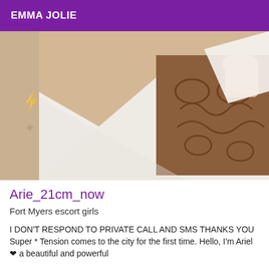EMMA JOLIE
[Figure (photo): Photo showing a bed with white sheets and a decorative brown headboard with scroll patterns; a person in a white outfit is partially visible at the top right corner.]
Arie_21cm_now
Fort Myers escort girls
I DON'T RESPOND TO PRIVATE CALL AND SMS THANKS YOU Super * Tension comes to the city for the first time. Hello, I'm Ariel ❤ a beautiful and powerful